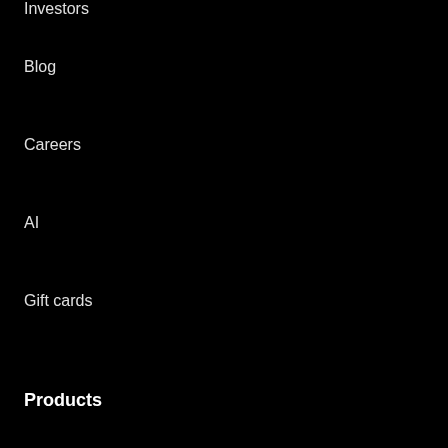Investors
Blog
Careers
AI
Gift cards
Products
Ride
Drive
Deliver
Eat
Uber for Business